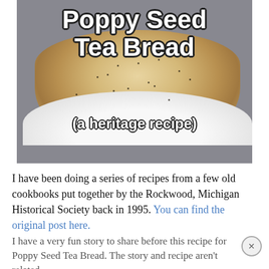[Figure (photo): A slice of poppy seed tea bread on a white plate, with the title 'Poppy Seed Tea Bread (a heritage recipe)' overlaid in white text with dark outline]
I have been doing a series of recipes from a few old cookbooks put together by the Rockwood, Michigan Historical Society back in 1995. You can find the original post here.
I have a very fun story to share before this recipe for Poppy Seed Tea Bread. The story and recipe aren't related...